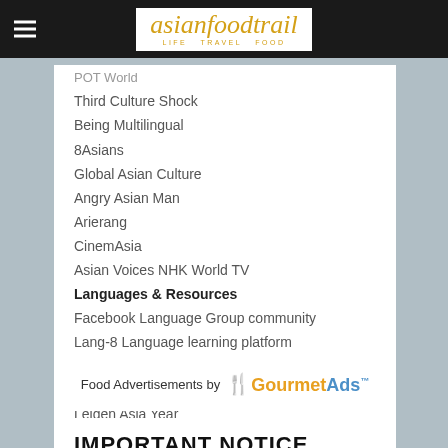asianfoodtrail LIFE TRAVEL FOOD
POT World
Third Culture Shock
Being Multilingual
8Asians
Global Asian Culture
Angry Asian Man
Arierang
CinemAsia
Asian Voices NHK World TV
Languages & Resources
Facebook Language Group community
Lang-8 Language learning platform
M and MX Chinese comics online>
Cheng & Tsui Asian Language Learning
Leiden Asia Year
Food Advertisements by GourmetAds
IMPORTANT NOTICE